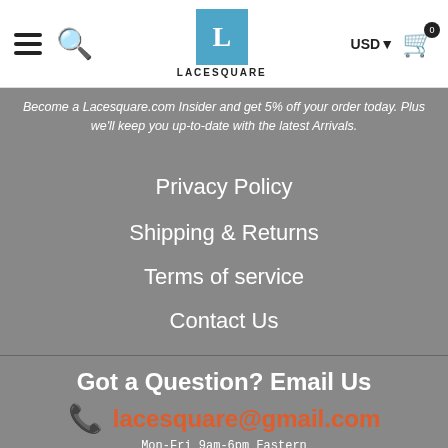LACESQUARE — USD — Cart (0)
Become a Lacesquare.com Insider and get 5% off your order today. Plus we'll keep you up-to-date with the latest Arrivals.
Privacy Policy
Shipping & Returns
Terms of service
Contact Us
Got a Question? Email Us
lacesquare@gmail.com
Mon-Fri 9am-6pm Eastern